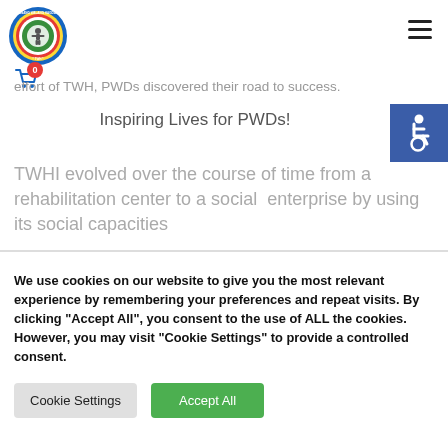TWH logo and navigation header with cart (0) and hamburger menu
effort of TWH, PWDs discovered their road to success.
Inspiring Lives for PWDs!
[Figure (illustration): Blue accessibility icon (wheelchair symbol) on a blue square background]
TWHI evolved over the course of time from a rehabilitation center to a social enterprise by using its social capacities
We use cookies on our website to give you the most relevant experience by remembering your preferences and repeat visits. By clicking "Accept All", you consent to the use of ALL the cookies. However, you may visit "Cookie Settings" to provide a controlled consent.
Cookie Settings | Accept All